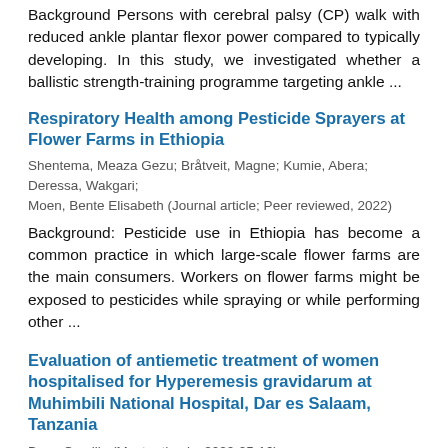Background Persons with cerebral palsy (CP) walk with reduced ankle plantar flexor power compared to typically developing. In this study, we investigated whether a ballistic strength-training programme targeting ankle ...
Respiratory Health among Pesticide Sprayers at Flower Farms in Ethiopia
Shentema, Meaza Gezu; Bråtveit, Magne; Kumie, Abera; Deressa, Wakgari; Moen, Bente Elisabeth (Journal article; Peer reviewed, 2022)
Background: Pesticide use in Ethiopia has become a common practice in which large-scale flower farms are the main consumers. Workers on flower farms might be exposed to pesticides while spraying or while performing other ...
Evaluation of antiemetic treatment of women hospitalised for Hyperemesis gravidarum at Muhimbili National Hospital, Dar es Salaam, Tanzania
Brox, Camilla (Master thesis, 2022-05-16)
Background: Significant global efforts are required to achieve the United Nations Sustainable Development Goal